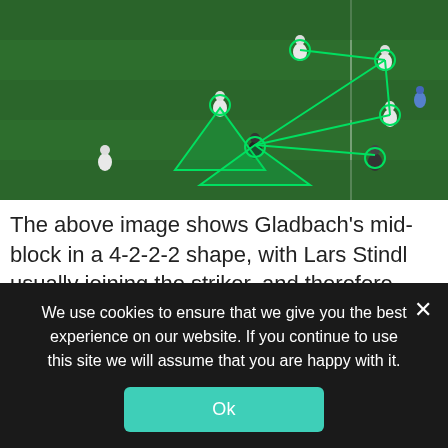[Figure (photo): Aerial view of a soccer/football match with green tactical overlay lines and triangles drawn on the field showing Gladbach's mid-block formation with player positions connected by green lines and triangles]
The above image shows Gladbach's mid-block in a 4-2-2-2 shape, with Lars Stindl usually joining the striker, and therefore creating four layers or lines for Gladbach. Additionally, they create a six-man central overload, containing the
We use cookies to ensure that we give you the best experience on our website. If you continue to use this site we will assume that you are happy with it.
Ok